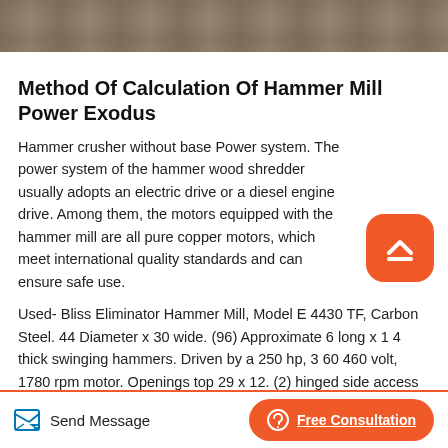[Figure (photo): Outdoor landscape/nature photo strip at top of page, showing trees and terrain in muted colors]
Method Of Calculation Of Hammer Mill Power Exodus
Hammer crusher without base Power system. The power system of the hammer wood shredder usually adopts an electric drive or a diesel engine drive. Among them, the motors equipped with the hammer mill are all pure copper motors, which meet international quality standards and can ensure safe use.
Used- Bliss Eliminator Hammer Mill, Model E 4430 TF, Carbon Steel. 44 Diameter x 30 wide. (96) Approximate 6 long x 1 4 thick swinging hammers. Driven by a 250 hp, 3 60 460 volt, 1780 rpm motor. Openings top 29 x 12. (2) hinged side access doors
Send Message   Free Consultation